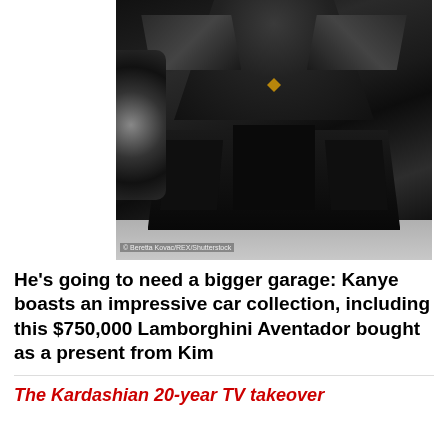[Figure (photo): Close-up front view of a black Lamborghini Aventador supercar, showing the aggressive front splitter, headlights, and hood from above, parked on a light gray surface. Watermark text reads '© Beretta Kovac/REX/Shutterstock'. Share and camera icons visible on the right edge.]
He's going to need a bigger garage: Kanye boasts an impressive car collection, including this $750,000 Lamborghini Aventador bought as a present from Kim
The Kardashian 20-year TV takeover